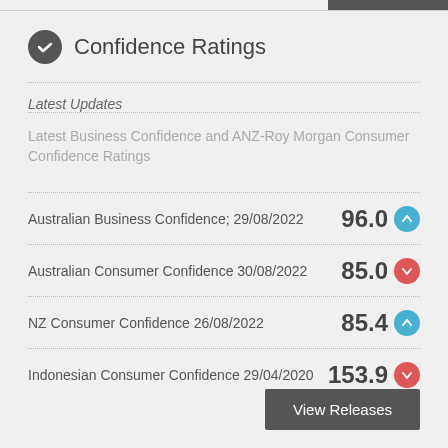Confidence Ratings
Latest Updates
Latest Business Confidence and ANZ-Roy Morgan Consumer Confidence Ratings
Australian Business Confidence; 29/08/2022   96.0 ↑
Australian Consumer Confidence 30/08/2022   85.0 ↓
NZ Consumer Confidence 26/08/2022   85.4 ↑
Indonesian Consumer Confidence 29/04/2020   153.9 ↓
View Releases